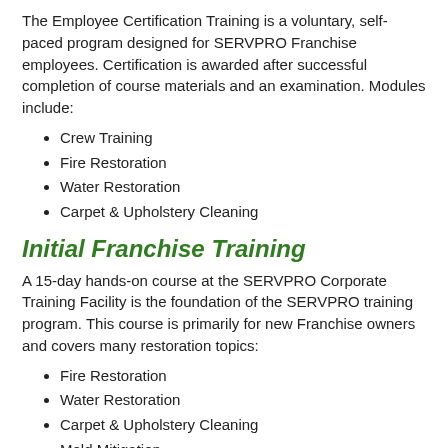The Employee Certification Training is a voluntary, self-paced program designed for SERVPRO Franchise employees. Certification is awarded after successful completion of course materials and an examination. Modules include:
Crew Training
Fire Restoration
Water Restoration
Carpet & Upholstery Cleaning
Initial Franchise Training
A 15-day hands-on course at the SERVPRO Corporate Training Facility is the foundation of the SERVPRO training program. This course is primarily for new Franchise owners and covers many restoration topics:
Fire Restoration
Water Restoration
Carpet & Upholstery Cleaning
Mold Mitigation
e-Learnings